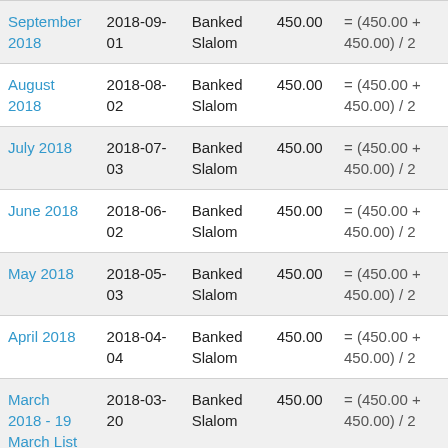| September 2018 | 2018-09-01 | Banked Slalom | 450.00 | = (450.00 + 450.00) / 2 |
| August 2018 | 2018-08-02 | Banked Slalom | 450.00 | = (450.00 + 450.00) / 2 |
| July 2018 | 2018-07-03 | Banked Slalom | 450.00 | = (450.00 + 450.00) / 2 |
| June 2018 | 2018-06-02 | Banked Slalom | 450.00 | = (450.00 + 450.00) / 2 |
| May 2018 | 2018-05-03 | Banked Slalom | 450.00 | = (450.00 + 450.00) / 2 |
| April 2018 | 2018-04-04 | Banked Slalom | 450.00 | = (450.00 + 450.00) / 2 |
| March 2018 - 19 March List | 2018-03-20 | Banked Slalom | 450.00 | = (450.00 + 450.00) / 2 |
| February 2018 | 2018-02-20 | Banked Slalom | 450.00 | = (450.00 + 450.00) / 2 |
| January | 2018-01- | Banked | 450.00 | = (450.00 + |